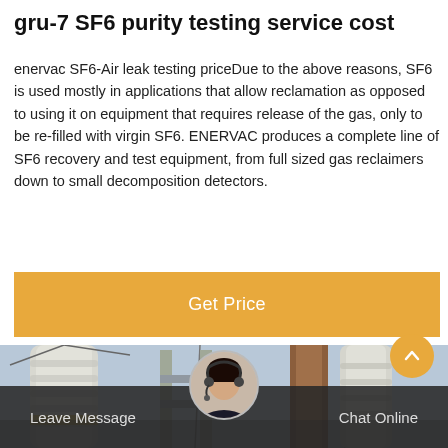gru-7 SF6 purity testing service cost
enervac SF6-Air leak testing priceDue to the above reasons, SF6 is used mostly in applications that allow reclamation as opposed to using it on equipment that requires release of the gas, only to be re-filled with virgin SF6. ENERVAC produces a complete line of SF6 recovery and test equipment, from full sized gas reclaimers down to small decomposition detectors.
[Figure (other): Orange 'Get Price' button banner]
[Figure (photo): Industrial electrical substation equipment — large cylindrical insulators and metal structures photographed from below against a sky background]
[Figure (other): Dark semi-transparent footer bar with 'Leave Message' on the left, a circular avatar of a customer service representative in the center, and 'Chat Online' on the right. An orange circular scroll-up button is visible in the lower right area.]